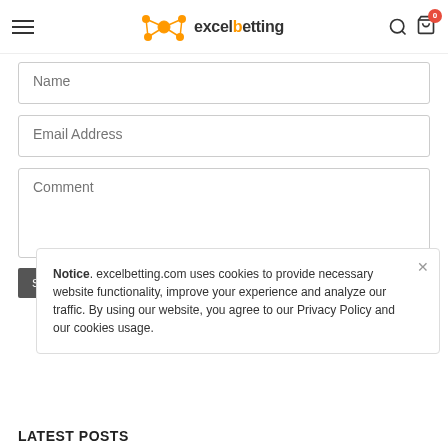excelbetting
Name
Email Address
Comment
Submit
Notice. excelbetting.com uses cookies to provide necessary website functionality, improve your experience and analyze our traffic. By using our website, you agree to our Privacy Policy and our cookies usage.
LATEST POSTS